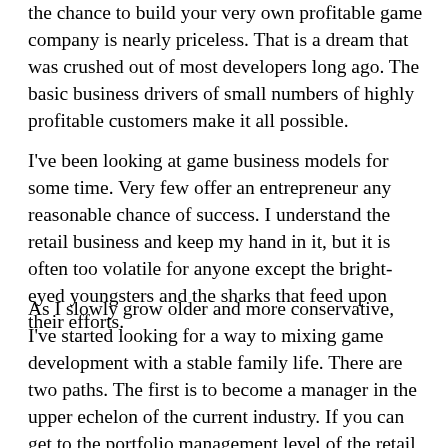the chance to build your very own profitable game company is nearly priceless. That is a dream that was crushed out of most developers long ago. The basic business drivers of small numbers of highly profitable customers make it all possible.
I've been looking at game business models for some time. Very few offer an entrepreneur any reasonable chance of success. I understand the retail business and keep my hand in it, but it is often too volatile for anyone except the bright-eyed youngsters and the sharks that feed upon their efforts.
As I slowly grow older and more conservative, I've started looking for a way to mixing game development with a stable family life. There are two paths. The first is to become a manager in the upper echelon of the current industry. If you can get to the portfolio management level of the retail industry, a lot of the